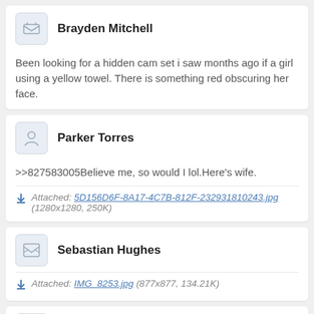Brayden Mitchell
Been looking for a hidden cam set i saw months ago if a girl using a yellow towel. There is something red obscuring her face.
Parker Torres
>>827583005Believe me, so would I lol.Here's wife.
Attached: 5D156D6F-8A17-4C7B-812F-232931810243.jpg (1280x1280, 250K)
Sebastian Hughes
Attached: IMG_8253.jpg (877x877, 134.21K)
Isaac Allen